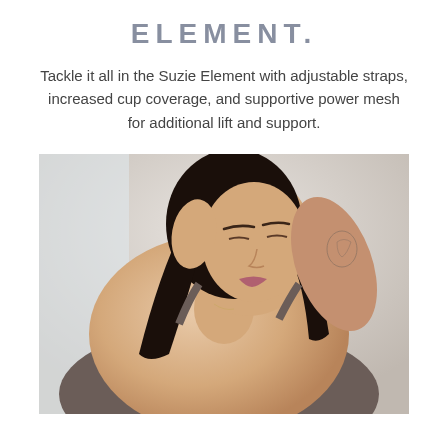ELEMENT.
Tackle it all in the Suzie Element with adjustable straps, increased cup coverage, and supportive power mesh for additional lift and support.
[Figure (photo): A woman with long dark hair wearing a dark gray/taupe bra or swimsuit top, looking downward with one arm raised to her head. She has a tattoo on her right arm. The photo is shot in a bright indoor setting.]